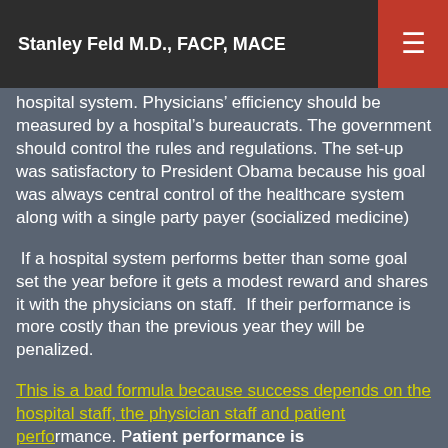Stanley Feld M.D., FACP, MACE
hospital system. Physicians' efficiency should be measured by a hospital's bureaucrats. The government should control the rules and regulations. The set-up was satisfactory to President Obama because his goal was always central control of the healthcare system along with a single party payer (socialized medicine)
If a hospital system performs better than some goal set the year before it gets a modest reward and shares it with the physicians on staff. If their performance is more costly than the previous year they will be penalized.
This is a bad formula because success depends on the hospital staff, the physician staff and patient performance. Patient performance is